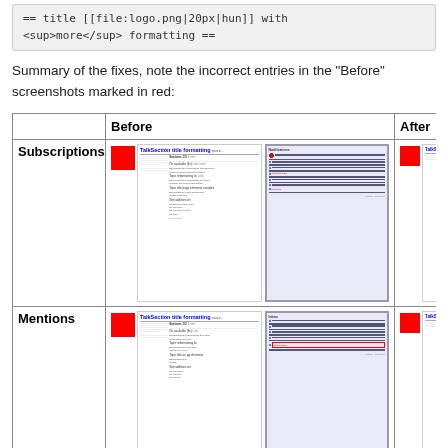== title [[file:logo.png|20px|hun]]   with <sup>more</sup> formatting ==
Summary of the fixes, note the incorrect entries in the "Before" screenshots marked in red:
|  | Before | After |
| --- | --- | --- |
| Subscriptions | [screenshot composite] | [screenshot] |
| Mentions | [screenshot composite] | [screenshot] |